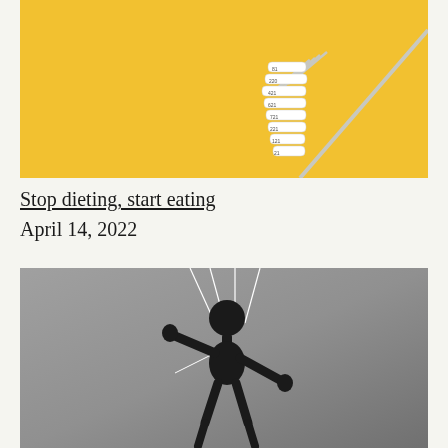[Figure (photo): A yellow background with a measuring tape coiled and speared on a silver fork, displayed against vivid yellow backdrop. The measuring tape shows numbered measurements and hangs from the fork tines.]
Stop dieting, start eating
April 14, 2022
[Figure (photo): A black and white photograph of a dark wooden puppet/marionette figure suspended by multiple white strings against a grey background. The puppet has its arms outstretched as if dancing or being controlled.]